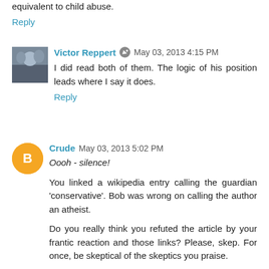equivalent to child abuse.
Reply
Victor Reppert  May 03, 2013 4:15 PM
I did read both of them. The logic of his position leads where I say it does.
Reply
Crude  May 03, 2013 5:02 PM
Oooh - silence!
You linked a wikipedia entry calling the guardian 'conservative'. Bob was wrong on calling the author an atheist.
Do you really think you refuted the article by your frantic reaction and those links? Please, skep. For once, be skeptical of the skeptics you praise.